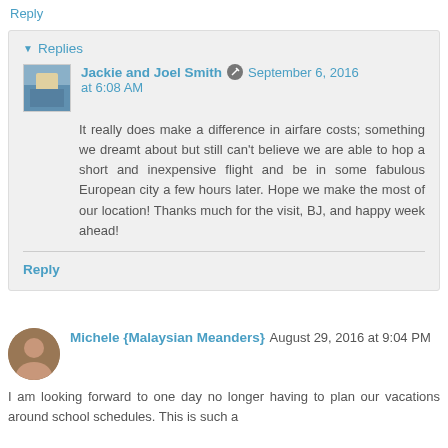Reply
Replies
Jackie and Joel Smith   September 6, 2016 at 6:08 AM
It really does make a difference in airfare costs; something we dreamt about but still can't believe we are able to hop a short and inexpensive flight and be in some fabulous European city a few hours later. Hope we make the most of our location! Thanks much for the visit, BJ, and happy week ahead!
Reply
Michele {Malaysian Meanders}   August 29, 2016 at 9:04 PM
I am looking forward to one day no longer having to plan our vacations around school schedules. This is such a